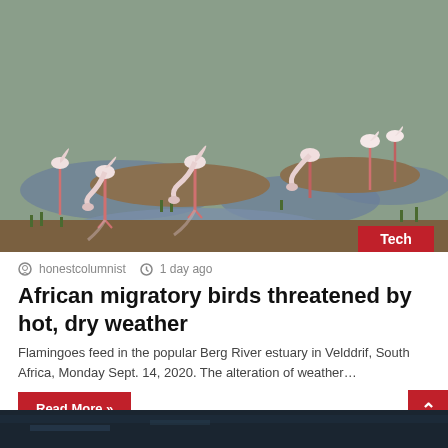[Figure (photo): Flamingoes feeding in a wetland estuary with shallow water pools and grassy mudflats, with their reflections visible in the water. A 'Tech' badge appears in the bottom-right corner of the image.]
honestcolumnist   1 day ago
African migratory birds threatened by hot, dry weather
Flamingoes feed in the popular Berg River estuary in Velddrif, South Africa, Monday Sept. 14, 2020. The alteration of weather…
Read More »
[Figure (photo): Partial view of a dark image at the bottom of the page, appears to be the beginning of another article's photo.]